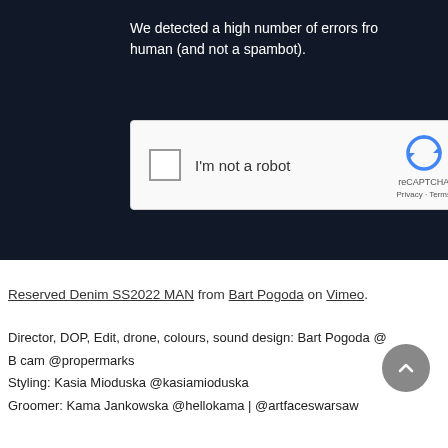We detected a high number of errors from your connection. To continue, please confirm that you're a human (and not a spambot).
[Figure (screenshot): reCAPTCHA widget with checkbox labeled 'I'm not a robot' and reCAPTCHA logo with Privacy and Terms links]
Reserved Denim SS2022 MAN from Bart Pogoda on Vimeo.
Director, DOP, Edit, drone, colours, sound design: Bart Pogoda @
B cam @propermarks
Styling: Kasia Mioduska @kasiamioduska
Groomer: Kama Jankowska @hellokama | @artfaceswarsaw